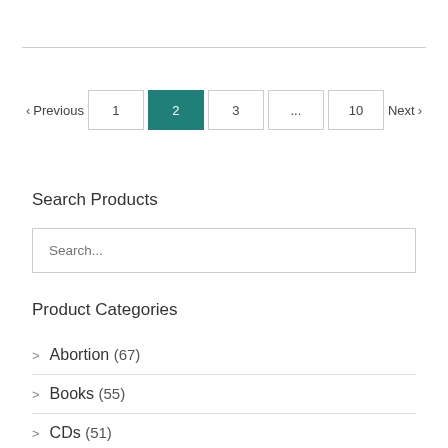< Previous  1  2  3  ...  10  Next >
Search Products
Search...
Product Categories
> Abortion (67)
> Books (55)
> CDs (51)